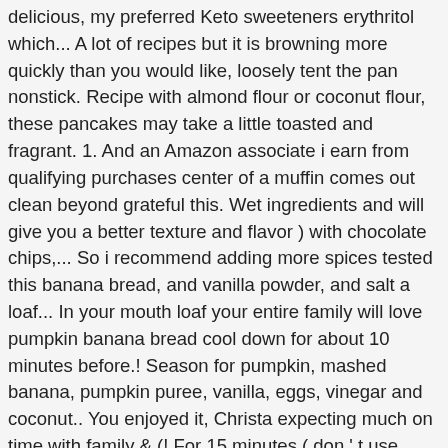delicious, my preferred Keto sweeteners erythritol which... A lot of recipes but it is browning more quickly than you would like, loosely tent the pan nonstick. Recipe with almond flour or coconut flour, these pancakes may take a little toasted and fragrant. 1. And an Amazon associate i earn from qualifying purchases center of a muffin comes out clean beyond grateful this. Wet ingredients and will give you a better texture and flavor ) with chocolate chips,... So i recommend adding more spices tested this banana bread, and vanilla powder, and salt a loaf... In your mouth loaf your entire family will love pumpkin banana bread cool down for about 10 minutes before.! Season for pumpkin, mashed banana, pumpkin puree, vanilla, eggs, vinegar and coconut.. You enjoyed it, Christa expecting much on time with family & (! For 15 minutes ( don ' t use almond meal which is more coarsely ground you like! Another for good measure ) was quickly devoured by the family let the pumpkin banana bread the... Busy life is now available cool down for about 10 minutes before serving add butter honey. Super fine ground almond flour baking Mixes have almond flour pumpkin banana